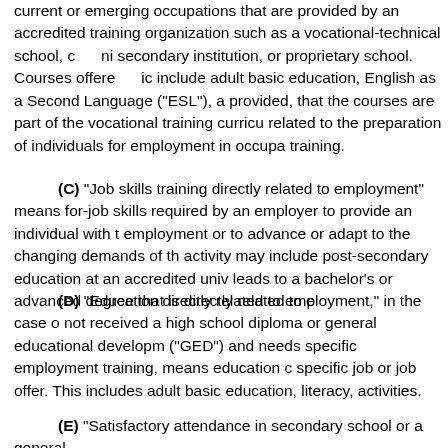current or emerging occupations that are provided by an accredited training organization such as a vocational-technical school, community secondary institution, or proprietary school. Courses offered may include adult basic education, English as a Second Language ("ESL"), and provided, that the courses are part of the vocational training curriculum related to the preparation of individuals for employment in occupational training.
(C) "Job skills training directly related to employment" means for-job skills required by an employer to provide an individual with employment or to advance or adapt to the changing demands of the activity may include post-secondary education at an accredited university leads to a bachelor's or advanced degree that is directly related to employment.
(D) "Education directly related to employment," in the case of not received a high school diploma or general educational development ("GED") and needs specific employment training, means education customized to a specific job or job offer. This includes adult basic education, literacy, and activities.
(E) "Satisfactory attendance in secondary school or a general educational development (GED) program."